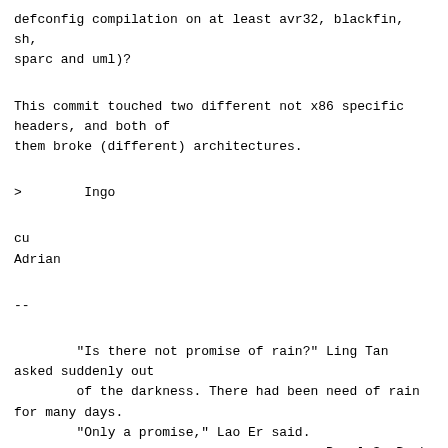defconfig compilation on at least avr32, blackfin, sh,
sparc and uml)?
This commit touched two different not x86 specific
headers, and both of
them broke (different) architectures.
>        Ingo
cu
Adrian
--
"Is there not promise of rain?" Ling Tan asked suddenly out
        of the darkness. There had been need of rain for many days.
        "Only a promise," Lao Er said.
                                        Pearl S. Buck -
Dragon Seed
^ permalink raw reply    [flat|nested] 48+ messages in thread
* Re: [git pull] x86 arch updates for v2.6.25
  2008-01-31 16:12      ` Adrian Bunk
@ 2008-01-31 16:15      ` Ingo Molnar